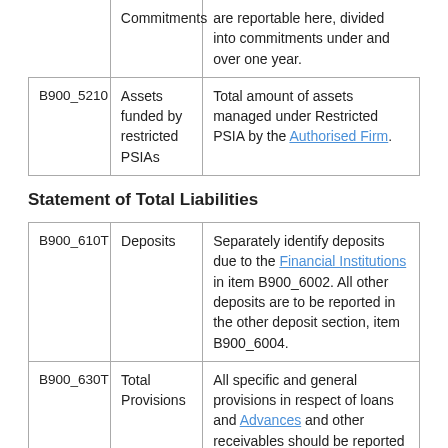|  |  |  |
| --- | --- | --- |
|  | Commitments | are reportable here, divided into commitments under and over one year. |
| B900_5210 | Assets funded by restricted PSIAs | Total amount of assets managed under Restricted PSIA by the Authorised Firm. |
Statement of Total Liabilities
|  |  |  |
| --- | --- | --- |
| B900_610T | Deposits | Separately identify deposits due to the Financial Institutions in item B900_6002. All other deposits are to be reported in the other deposit section, item B900_6004. |
| B900_630T | Total Provisions | All specific and general provisions in respect of loans and Advances and other receivables should be reported |